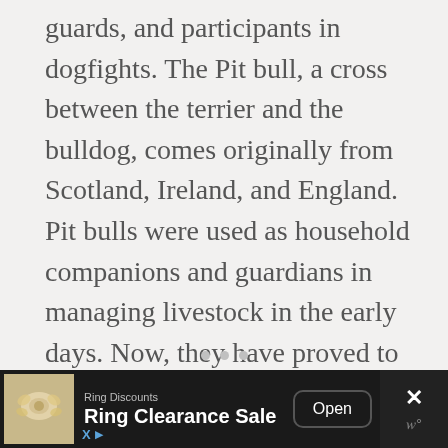guards, and participants in dogfights. The Pit bull, a cross between the terrier and the bulldog, comes originally from Scotland, Ireland, and England. Pit bulls were used as household companions and guardians in managing livestock in the early days. Now, they have proved to be effective as police and therapy dogs.
[Figure (other): Three navigation dots (pagination indicators) in a row, light gray color]
[Figure (other): Advertisement bar at bottom of screen: ring jewelry image on left, 'Ring Discounts / Ring Clearance Sale' text in center, 'Open' button, and close X button with 'wp' icon on right. Black background.]